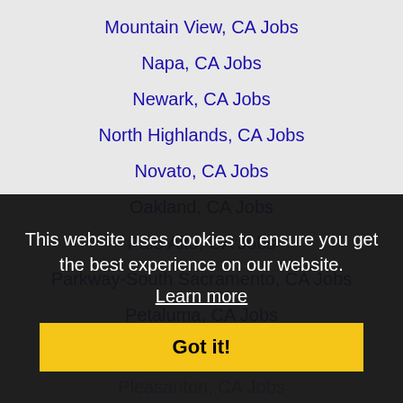Mountain View, CA Jobs
Napa, CA Jobs
Newark, CA Jobs
North Highlands, CA Jobs
Novato, CA Jobs
Oakland, CA Jobs
Palo Alto, CA Jobs
Parkway-South Sacramento, CA Jobs
Petaluma, CA Jobs
Pittsburg, CA Jobs
Pleasanton, CA Jobs
Rancho Cordova, CA Jobs
Redwood City, CA Jobs
Rocklin, CA Jobs
Rohnert Park, CA Jobs
Roseville, CA Jobs
Sacramento, CA Jobs
Salinas, CA Jobs
This website uses cookies to ensure you get the best experience on our website. Learn more
Got it!